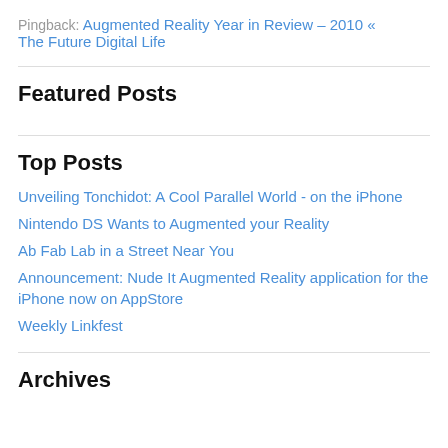Pingback: Augmented Reality Year in Review – 2010 « The Future Digital Life
Featured Posts
Top Posts
Unveiling Tonchidot: A Cool Parallel World - on the iPhone
Nintendo DS Wants to Augmented your Reality
Ab Fab Lab in a Street Near You
Announcement: Nude It Augmented Reality application for the iPhone now on AppStore
Weekly Linkfest
Archives